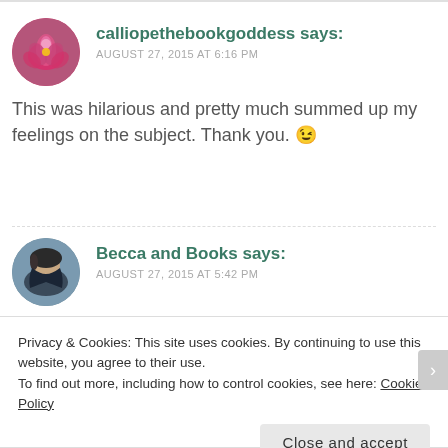calliopethebookgoddess says:
AUGUST 27, 2015 AT 6:16 PM
This was hilarious and pretty much summed up my feelings on the subject. Thank you. 😉
Becca and Books says:
AUGUST 27, 2015 AT 5:42 PM
Privacy & Cookies: This site uses cookies. By continuing to use this website, you agree to their use.
To find out more, including how to control cookies, see here: Cookie Policy